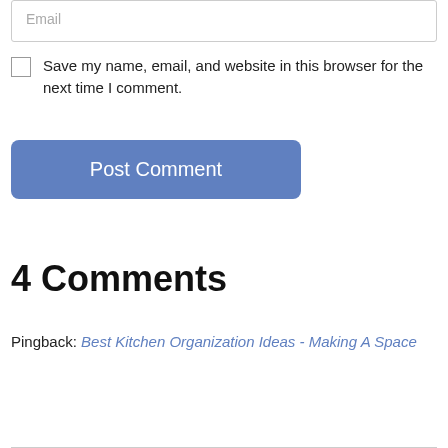Email
Save my name, email, and website in this browser for the next time I comment.
Post Comment
4 Comments
Pingback: Best Kitchen Organization Ideas - Making A Space